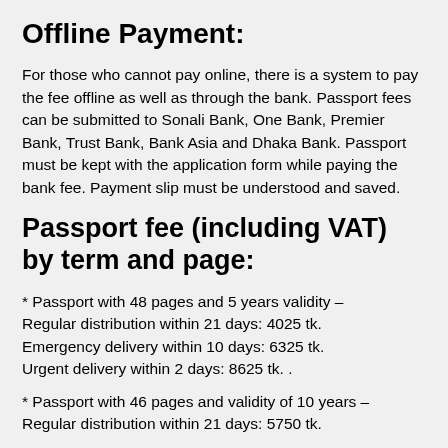Offline Payment:
For those who cannot pay online, there is a system to pay the fee offline as well as through the bank. Passport fees can be submitted to Sonali Bank, One Bank, Premier Bank, Trust Bank, Bank Asia and Dhaka Bank. Passport must be kept with the application form while paying the bank fee. Payment slip must be understood and saved.
Passport fee (including VAT) by term and page:
* Passport with 48 pages and 5 years validity – Regular distribution within 21 days: 4025 tk. Emergency delivery within 10 days: 6325 tk. Urgent delivery within 2 days: 8625 tk. .
* Passport with 46 pages and validity of 10 years – Regular distribution within 21 days: 5750 tk.